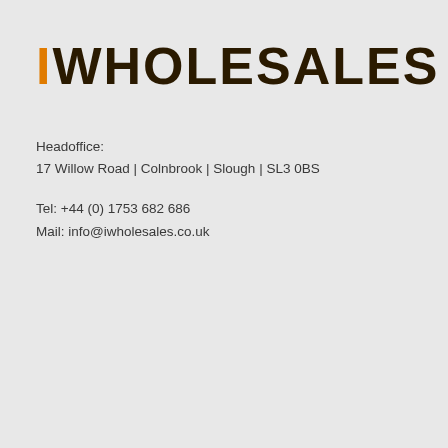iWHOLESALES
Headoffice:
17 Willow Road | Colnbrook | Slough | SL3 0BS
Tel: +44 (0) 1753 682 686
Mail: info@iwholesales.co.uk